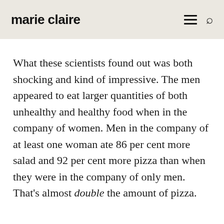marie claire
What these scientists found out was both shocking and kind of impressive. The men appeared to eat larger quantities of both unhealthy and healthy food when in the company of women. Men in the company of at least one woman ate 86 per cent more salad and 92 per cent more pizza than when they were in the company of only men. That's almost double the amount of pizza.